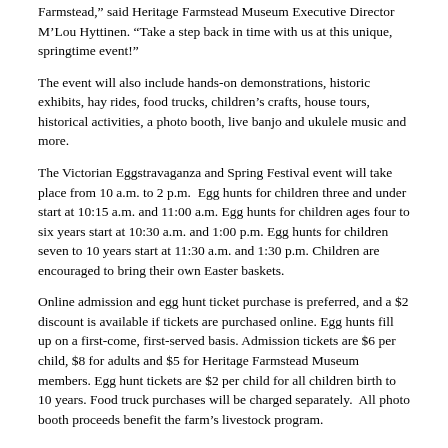Farmstead," said Heritage Farmstead Museum Executive Director M'Lou Hyttinen. "Take a step back in time with us at this unique, springtime event!"
The event will also include hands-on demonstrations, historic exhibits, hay rides, food trucks, children's crafts, house tours, historical activities, a photo booth, live banjo and ukulele music and more.
The Victorian Eggstravaganza and Spring Festival event will take place from 10 a.m. to 2 p.m.  Egg hunts for children three and under start at 10:15 a.m. and 11:00 a.m. Egg hunts for children ages four to six years start at 10:30 a.m. and 1:00 p.m. Egg hunts for children seven to 10 years start at 11:30 a.m. and 1:30 p.m. Children are encouraged to bring their own Easter baskets.
Online admission and egg hunt ticket purchase is preferred, and a $2 discount is available if tickets are purchased online. Egg hunts fill up on a first-come, first-served basis. Admission tickets are $6 per child, $8 for adults and $5 for Heritage Farmstead Museum members. Egg hunt tickets are $2 per child for all children birth to 10 years. Food truck purchases will be charged separately.  All photo booth proceeds benefit the farm's livestock program.